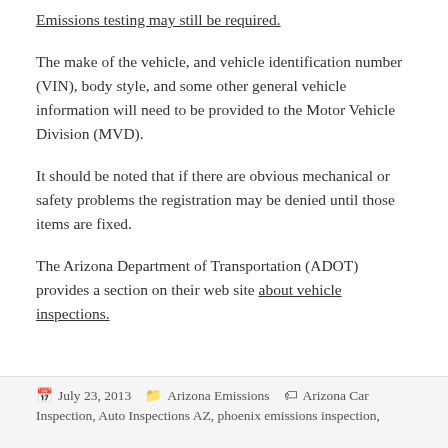Emissions testing may still be required.
The make of the vehicle, and vehicle identification number (VIN), body style, and some other general vehicle information will need to be provided to the Motor Vehicle Division (MVD).
It should be noted that if there are obvious mechanical or safety problems the registration may be denied until those items are fixed.
The Arizona Department of Transportation (ADOT) provides a section on their web site about vehicle inspections.
July 23, 2013   Arizona Emissions   Arizona Car Inspection, Auto Inspections AZ, phoenix emissions inspection,